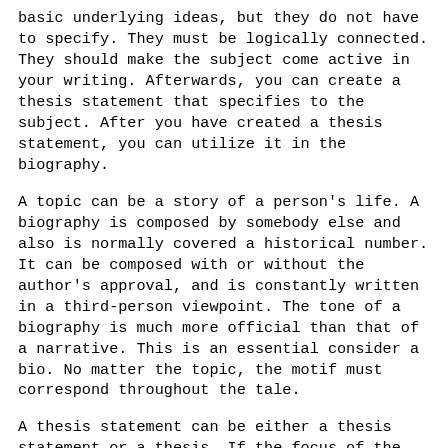basic underlying ideas, but they do not have to specify. They must be logically connected. They should make the subject come active in your writing. Afterwards, you can create a thesis statement that specifies to the subject. After you have created a thesis statement, you can utilize it in the biography.
A topic can be a story of a person's life. A biography is composed by somebody else and also is normally covered a historical number. It can be composed with or without the author's approval, and is constantly written in a third-person viewpoint. The tone of a biography is much more official than that of a narrative. This is an essential consider a bio. No matter the topic, the motif must correspond throughout the tale.
A thesis statement can be either a thesis statement or a thesis. If the focus of the bio is an individual's life, the thesis declaration is a vital part of the biography. It is a recap of the subject. Thematic statements are likewise beneficial in a research essay. Motif declarations can aid readers recognize a bio's meaning as well as context. However, they can be created for a selection of